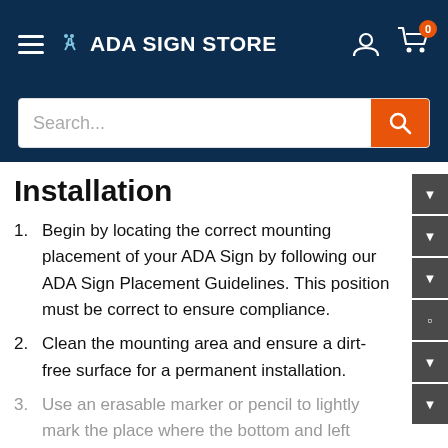ADA SIGN STORE
[Figure (screenshot): Search bar with orange search button]
Installation
Begin by locating the correct mounting placement of your ADA Sign by following our ADA Sign Placement Guidelines. This position must be correct to ensure compliance.
Clean the mounting area and ensure a dirt-free surface for a permanent installation.
Use an erasable marker or pencil to lightly mark the place where the bottom and left edges of the
Call Us
+ View more